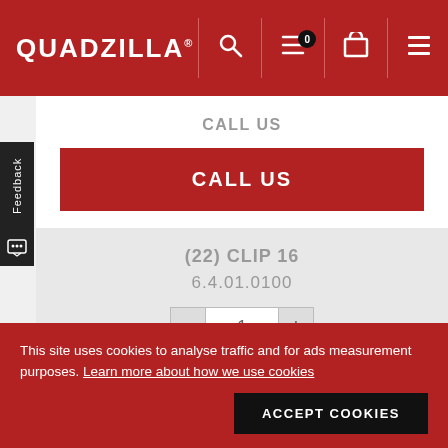QUADZILLA
CALL US
CALL US
(22) CLIP 16
6.4.01.0100
1
CALL US
CALL US
Feedback
This site uses cookies to analyse traffic and for ads measurement purposes. Learn more about how we use cookies
ACCEPT COOKIES